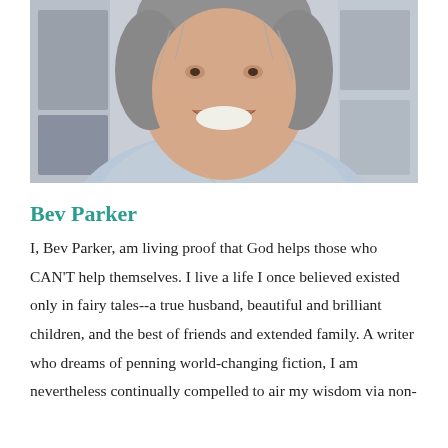[Figure (photo): Portrait photo of Bev Parker, a woman with gray hair, smiling broadly, wearing a light blue fuzzy sweater and a pearl necklace. Background appears to be an indoor setting.]
Bev Parker
I, Bev Parker, am living proof that God helps those who CAN'T help themselves. I live a life I once believed existed only in fairy tales--a true husband, beautiful and brilliant children, and the best of friends and extended family. A writer who dreams of penning world-changing fiction, I am nevertheless continually compelled to air my wisdom via non-